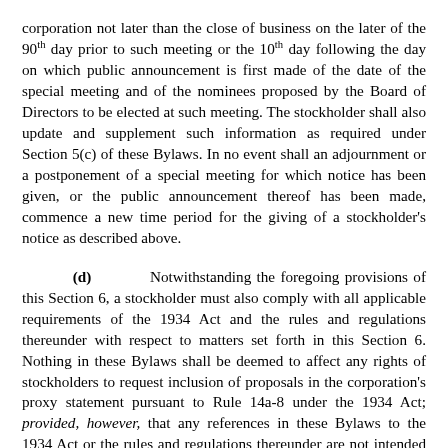corporation not later than the close of business on the later of the 90th day prior to such meeting or the 10th day following the day on which public announcement is first made of the date of the special meeting and of the nominees proposed by the Board of Directors to be elected at such meeting. The stockholder shall also update and supplement such information as required under Section 5(c) of these Bylaws. In no event shall an adjournment or a postponement of a special meeting for which notice has been given, or the public announcement thereof has been made, commence a new time period for the giving of a stockholder's notice as described above.
(d) Notwithstanding the foregoing provisions of this Section 6, a stockholder must also comply with all applicable requirements of the 1934 Act and the rules and regulations thereunder with respect to matters set forth in this Section 6. Nothing in these Bylaws shall be deemed to affect any rights of stockholders to request inclusion of proposals in the corporation's proxy statement pursuant to Rule 14a-8 under the 1934 Act; provided, however, that any references in these Bylaws to the 1934 Act or the rules and regulations thereunder are not intended to and